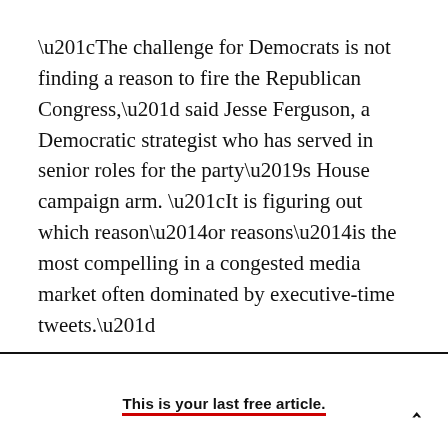“The challenge for Democrats is not finding a reason to fire the Republican Congress,” said Jesse Ferguson, a Democratic strategist who has served in senior roles for the party’s House campaign arm. “It is figuring out which reason—or reasons—is the most compelling in a congested media market often dominated by executive-time tweets.”
This is your last free article.